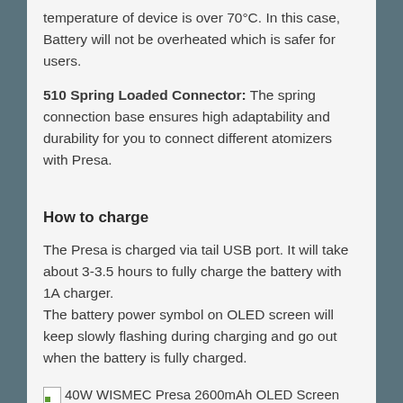temperature of device is over 70°C. In this case, Battery will not be overheated which is safer for users.
510 Spring Loaded Connector: The spring connection base ensures high adaptability and durability for you to connect different atomizers with Presa.
How to charge
The Presa is charged via tail USB port. It will take about 3-3.5 hours to fully charge the battery with 1A charger.
The battery power symbol on OLED screen will keep slowly flashing during charging and go out when the battery is fully charged.
[Figure (photo): 40W WISMEC Presa 2600mAh OLED Screen MOD Battery — broken image placeholder with green icon]